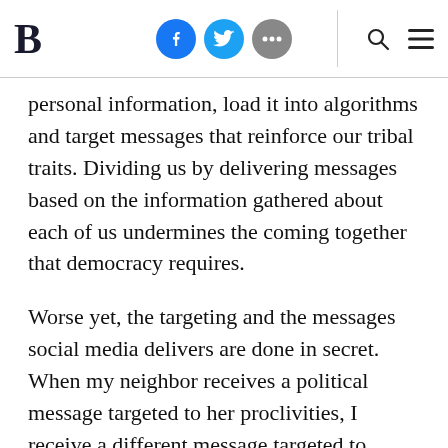B [Brookings logo] | Facebook | Twitter | More | Search | Menu
personal information, load it into algorithms and target messages that reinforce our tribal traits. Dividing us by delivering messages based on the information gathered about each of us undermines the coming together that democracy requires.
Worse yet, the targeting and the messages social media delivers are done in secret. When my neighbor receives a political message targeted to her proclivities, I receive a different message targeted to mine, and neither of us know about the message sent to the other, the ability to engage in dialog try and understand each other's position is